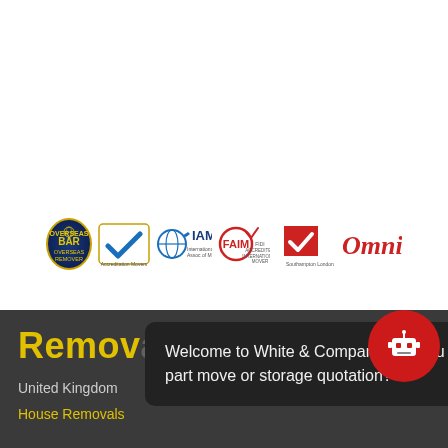[Figure (logo): Row of certification/membership logos: BAR Overseas Remover, Checkmark/Vanpak accredited movers, IAM International Association of Movers, FAIM accredited international mover, FIDI Southampton London, Omni]
Welcome to White & Company. Are you looking for a full move, part move or storage quotation?
Removals & Storage
United Kingdom
House Removals